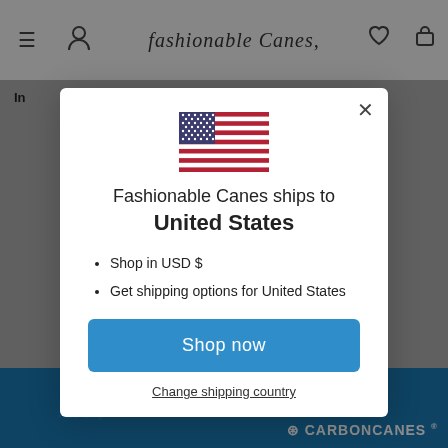[Figure (screenshot): Website background showing Fashionable Canes e-commerce page header with logo, navigation icons, and blue footer strip with Carbon Canes logo]
[Figure (infographic): Modal popup dialog showing US flag, shipping information for United States, bullet points about USD and shipping options, Shop now button, and Change shipping country link]
Fashionable Canes ships to United States
Shop in USD $
Get shipping options for United States
Shop now
Change shipping country